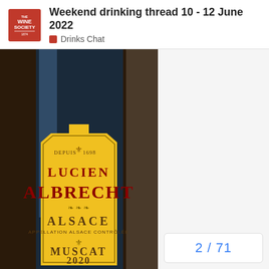Weekend drinking thread 10 - 12 June 2022 — Drinks Chat
[Figure (photo): Close-up photograph of a wine bottle label for Lucien Albrecht Alsace Muscat 2020, yellow label with red lettering, showing 'DEPUIS 1698', 'LUCIEN ALBRECHT', 'ALSACE', 'APPELLATION ALSACE CONTROLEE', 'MUSCAT', '2020']
2 / 71